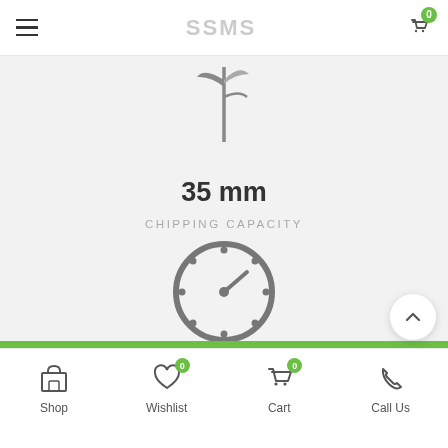SSMS shop header with hamburger menu and cart (0 items)
[Figure (illustration): A technical illustration showing a branch or stick being fed into a chipper machine — top portion of the diagram, showing the intake area]
35 mm
CHIPPING CAPACITY
[Figure (illustration): A gauge/speedometer icon indicating speed or power level, partially visible at the bottom of the main content area]
Shop | Wishlist (0) | Cart (0) | Call Us